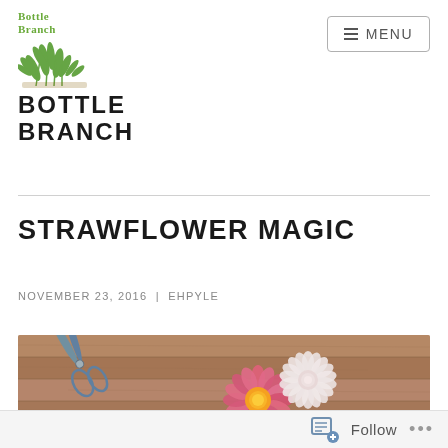Bottle Branch — MENU
STRAWFLOWER MAGIC
NOVEMBER 23, 2016 | EHPYLE
[Figure (photo): Close-up photo of strawflower blooms (pink and white) on a wooden surface, with scissors visible]
Follow ...